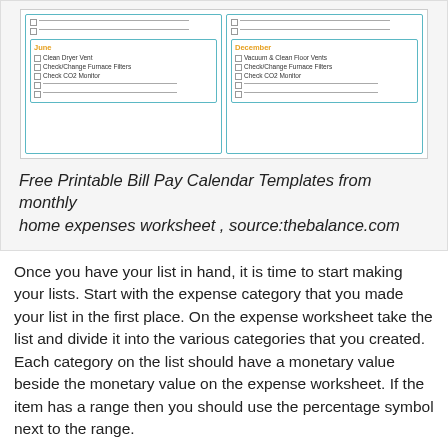[Figure (screenshot): Screenshot of a free printable home maintenance calendar showing June and December months with checkboxes for tasks like Clean Dryer Vent, Check/Change Furnace Filters, Check CO2 Monitor, Vacuum & Clean Floor Vents.]
Free Printable Bill Pay Calendar Templates from monthly home expenses worksheet , source:thebalance.com
Once you have your list in hand, it is time to start making your lists. Start with the expense category that you made your list in the first place. On the expense worksheet take the list and divide it into the various categories that you created. Each category on the list should have a monetary value beside the monetary value on the expense worksheet. If the item has a range then you should use the percentage symbol next to the range.
You should also make sure that each category on your list corresponds with its corresponding cost. For instance if you have a category that says kitchen items then you need to include the